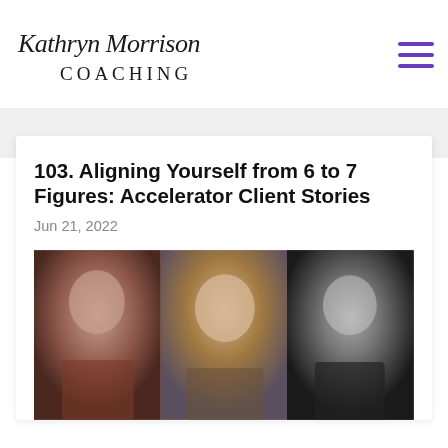[Figure (logo): Kathryn Morrison Coaching logo — script handwriting above 'COACHING' in serif caps]
103. Aligning Yourself from 6 to 7 Figures: Accelerator Client Stories
Jun 21, 2022
[Figure (photo): Three headshot photos side by side: a woman with short hair in warm tones; a smiling woman with a short bob and gold earrings; a woman with dark hair in black and white]